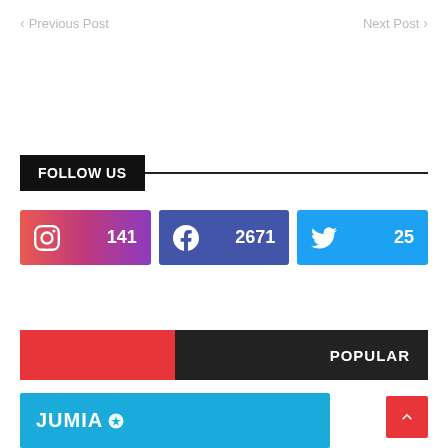< Previous Post   Next Post >
FOLLOW US
[Figure (infographic): Three social media follow buttons: Instagram (141), Facebook (2671), Twitter (25)]
POPULAR
[Figure (logo): Jumia logo on blue background banner]